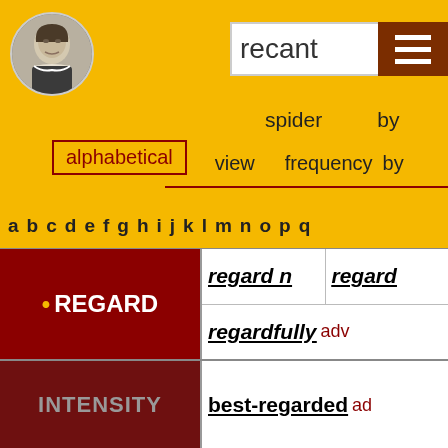[Figure (illustration): Shakespeare portrait in circular frame]
recant
[Figure (other): Hamburger menu icon with three horizontal lines on dark red background]
alphabetical | spider view | by frequency by
a b c d e f g h i j k l m n o p q
|  | regard n | regard |
| --- | --- | --- |
| • REGARD | regard n | regard |
|  | regardfully adv |  |
| INTENSITY | best-regarded ad |  |